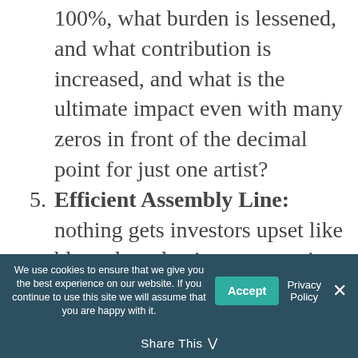100%, what burden is lessened, and what contribution is increased, and what is the ultimate impact even with many zeros in front of the decimal point for just one artist?
5. Efficient Assembly Line: nothing gets investors upset like bloated production costs or, in the ‘nicer’ terms of traditional non-profits, unnecessary overhead. Perhaps the most profound way a philanthropic investment opportunity can show ROI is in percentage of invested capital going
We use cookies to ensure that we give you the best experience on our website. If you continue to use this site we will assume that you are happy with it.
Share This